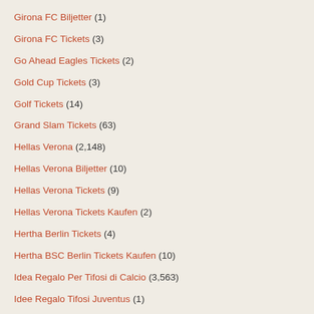Girona FC Biljetter (1)
Girona FC Tickets (3)
Go Ahead Eagles Tickets (2)
Gold Cup Tickets (3)
Golf Tickets (14)
Grand Slam Tickets (63)
Hellas Verona (2,148)
Hellas Verona Biljetter (10)
Hellas Verona Tickets (9)
Hellas Verona Tickets Kaufen (2)
Hertha Berlin Tickets (4)
Hertha BSC Berlin Tickets Kaufen (10)
Idea Regalo Per Tifosi di Calcio (3,563)
Idee Regalo Tifosi Juventus (1)
igliotti Calcio (99)